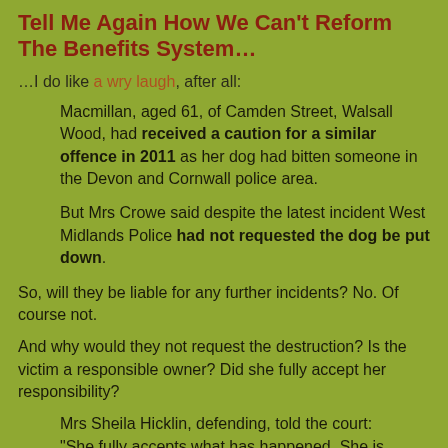Tell Me Again How We Can't Reform The Benefits System…
…I do like a wry laugh, after all:
Macmillan, aged 61, of Camden Street, Walsall Wood, had received a caution for a similar offence in 2011 as her dog had bitten someone in the Devon and Cornwall police area.
But Mrs Crowe said despite the latest incident West Midlands Police had not requested the dog be put down.
So, will they be liable for any further incidents? No. Of course not.
And why would they not request the destruction? Is the victim a responsible owner? Did she fully accept her responsibility?
Mrs Sheila Hicklin, defending, told the court: "She fully accepts what has happened. She is